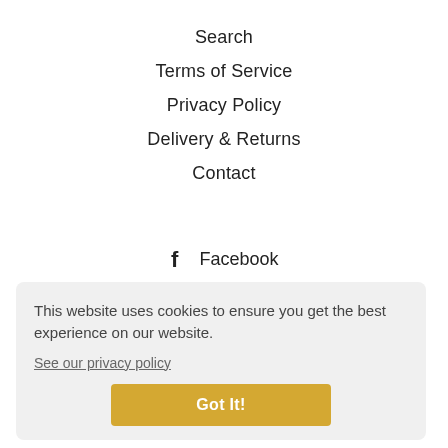Search
Terms of Service
Privacy Policy
Delivery & Returns
Contact
Facebook
Twitter
Pinterest
Instagram
YouTube
This website uses cookies to ensure you get the best experience on our website.
See our privacy policy
Got It!
© 2022, Mini Gabi
Powered by Shopify